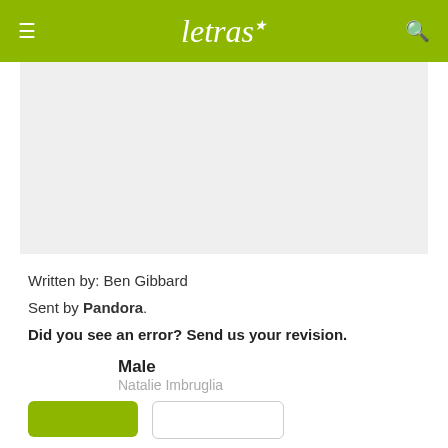letras
[Figure (other): Gray advertisement placeholder area]
Written by: Ben Gibbard
Sent by Pandora.
Did you see an error? Send us your revision.
Male
Natalie Imbruglia